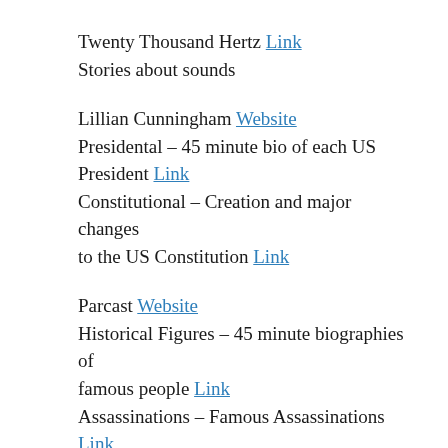Twenty Thousand Hertz Link
Stories about sounds
Lillian Cunningham Website
Presidental – 45 minute bio of each US President Link
Constitutional – Creation and major changes to the US Constitution Link
Parcast Website
Historical Figures – 45 minute biographies of famous people Link
Assassinations – Famous Assassinations Link
FAQ City Website